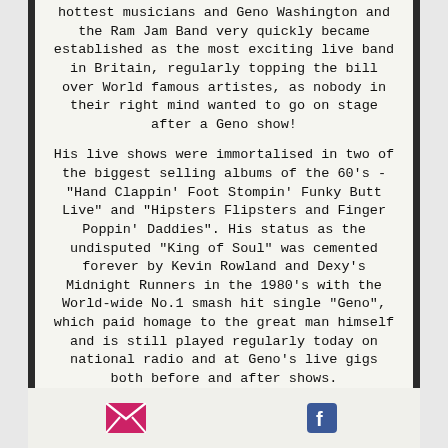hottest musicians and Geno Washington and the Ram Jam Band very quickly became established as the most exciting live band in Britain, regularly topping the bill over World famous artistes, as nobody in their right mind wanted to go on stage after a Geno show!
His live shows were immortalised in two of the biggest selling albums of the 60's - "Hand Clappin' Foot Stompin' Funky Butt Live" and "Hipsters Flipsters and Finger Poppin' Daddies". His status as the undisputed "King of Soul" was cemented forever by Kevin Rowland and Dexy's Midnight Runners in the 1980's with the World-wide No.1 smash hit single "Geno", which paid homage to the great man himself and is still played regularly today on national radio and at Geno's live gigs both before and after shows.
[Figure (other): Email icon (pink/magenta envelope) and Facebook icon (blue 'f' logo) in the page footer]